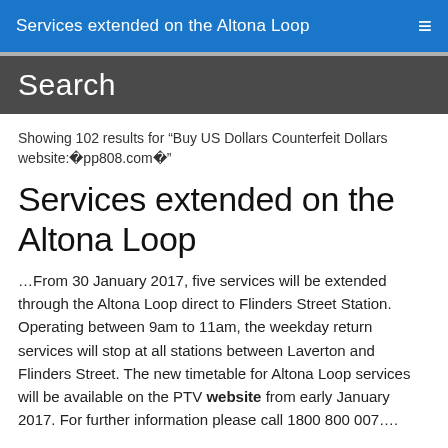Services extended on the Altona Loop
Search
Showing 102 results for “Buy US Dollars Counterfeit Dollars website:⎗pp808.com⎗”
Services extended on the Altona Loop
…From 30 January 2017, five services will be extended through the Altona Loop direct to Flinders Street Station. Operating between 9am to 11am, the weekday return services will stop at all stations between Laverton and Flinders Street. The new timetable for Altona Loop services will be available on the PTV website from early January 2017. For further information please call 1800 800 007….